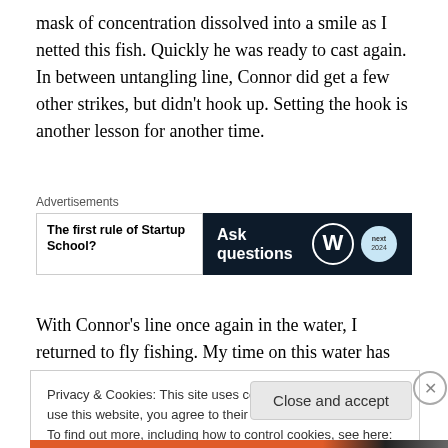mask of concentration dissolved into a smile as I netted this fish. Quickly he was ready to cast again. In between untangling line, Connor did get a few other strikes, but didn't hook up. Setting the hook is another lesson for another time.
[Figure (other): Advertisement block with text 'The first rule of Startup School?' on left and dark navy banner with 'Ask questions' text and WordPress/other logos on right]
With Connor's line once again in the water, I returned to fly fishing. My time on this water has taught me that about
Privacy & Cookies: This site uses cookies. By continuing to use this website, you agree to their use.
To find out more, including how to control cookies, see here: Cookie Policy